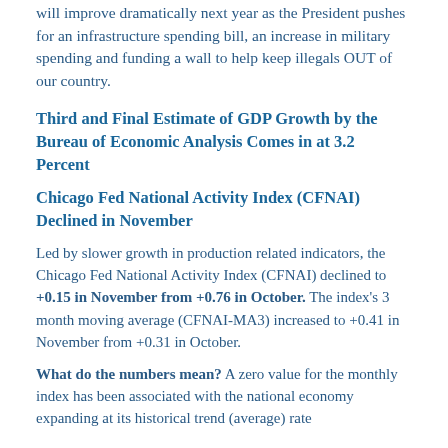will improve dramatically next year as the President pushes for an infrastructure spending bill, an increase in military spending and funding a wall to help keep illegals OUT of our country.
Third and Final Estimate of GDP Growth by the Bureau of Economic Analysis Comes in at 3.2 Percent
Chicago Fed National Activity Index (CFNAI) Declined in November
Led by slower growth in production related indicators, the Chicago Fed National Activity Index (CFNAI) declined to +0.15 in November from +0.76 in October. The index's 3 month moving average (CFNAI-MA3) increased to +0.41 in November from +0.31 in October.
What do the numbers mean? A zero value for the monthly index has been associated with the national economy expanding at its historical trend (average) rate